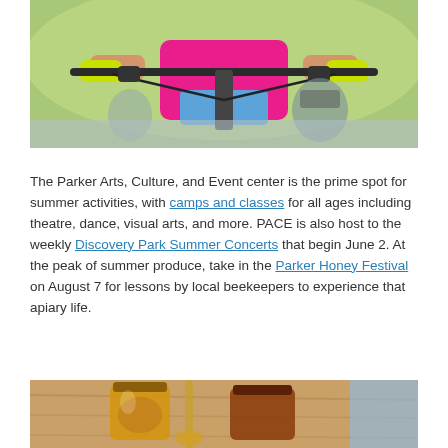[Figure (photo): Close-up photo of a person in a pink shirt and yellow gloves holding mountain bike handlebars, with another cyclist in the background on a path.]
The Parker Arts, Culture, and Event center is the prime spot for summer activities, with camps and classes for all ages including theatre, dance, visual arts, and more. PACE is also host to the weekly Discovery Park Summer Concerts that begin June 2. At the peak of summer produce, take in the Parker Honey Festival on August 7 for lessons by local beekeepers to experience that apiary life.
[Figure (photo): Photo of honey jars and honey dipper on a wooden surface, partially visible at the bottom of the page. An accessibility icon (person in circle) is overlaid in the lower left.]